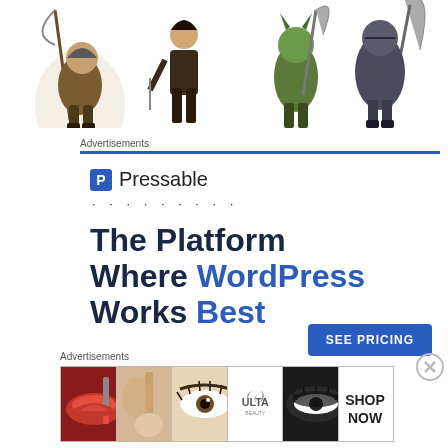[Figure (illustration): Fantasy game characters: a dwarf warrior with a scythe, a female figure with daggers, a green orc with blades, and armored warrior with a large blade — cropped at the top of the page on white background]
Advertisements
[Figure (infographic): Pressable advertisement: Logo with blue P icon, name 'Pressable', dotted separator line, headline 'The Platform Where WordPress Works Best', blue 'SEE PRICING' button]
Advertisements
[Figure (photo): Ulta Beauty advertisement banner: collage of makeup/beauty images — red lips with brush, makeup brush, eye with mascara, Ulta Beauty logo, smoky eye closeup, 'SHOP NOW' text]